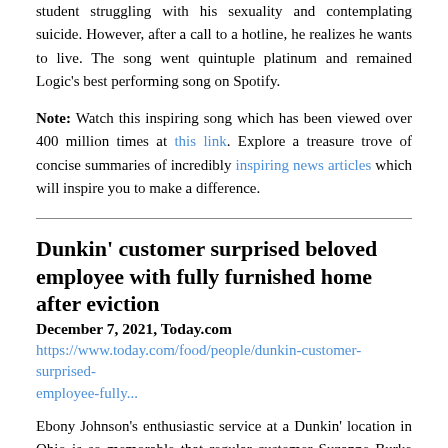student struggling with his sexuality and contemplating suicide. However, after a call to a hotline, he realizes he wants to live. The song went quintuple platinum and remained Logic's best performing song on Spotify.
Note: Watch this inspiring song which has been viewed over 400 million times at this link. Explore a treasure trove of concise summaries of incredibly inspiring news articles which will inspire you to make a difference.
Dunkin' customer surprised beloved employee with fully furnished home after eviction
December 7, 2021, Today.com
https://www.today.com/food/people/dunkin-customer-surprised-employee-fully...
Ebony Johnson's enthusiastic service at a Dunkin' location in Ohio is so memorable that regular customer Suzanne Burke noticed when she had not been working the drive-thru for a few weeks in March. When Johnson, 33, returned to work at the Mount Health location, she updated her co-workers for th...